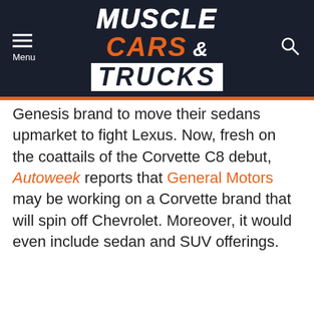MUSCLE CARS & TRUCKS
Genesis brand to move their sedans upmarket to fight Lexus. Now, fresh on the coattails of the Corvette C8 debut, Autoweek reports that General Motors may be working on a Corvette brand that will spin off Chevrolet. Moreover, it would even include sedan and SUV offerings.